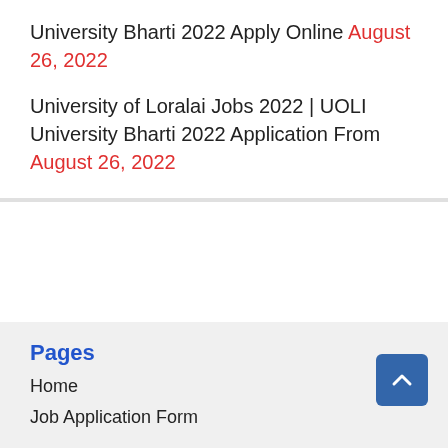University Bharti 2022 Apply Online August 26, 2022
University of Loralai Jobs 2022 | UOLI University Bharti 2022 Application From August 26, 2022
Pages
Home
Job Application Form